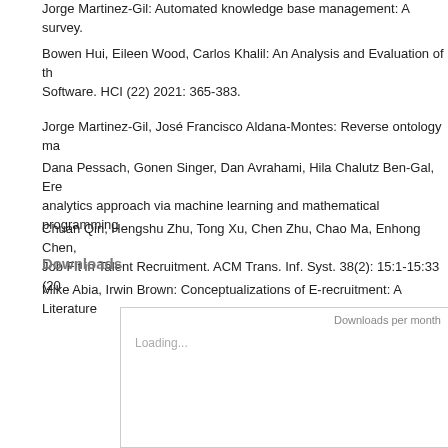Jorge Martinez-Gil: Automated knowledge base management: A survey.
Bowen Hui, Eileen Wood, Carlos Khalil: An Analysis and Evaluation of th... Software. HCI (22) 2021: 365-383.
Jorge Martinez-Gil, José Francisco Aldana-Montes: Reverse ontology ma...
Dana Pessach, Gonen Singer, Dan Avrahami, Hila Chalutz Ben-Gal, Ere... analytics approach via machine learning and mathematical programming...
Chuan Qin, Hengshu Zhu, Tong Xu, Chen Zhu, Chao Ma, Enhong Chen,... Job Fit in Talent Recruitment. ACM Trans. Inf. Syst. 38(2): 15:1-15:33 (20...
Mike Abia, Irwin Brown: Conceptualizations of E-recruitment: A Literature...
Downloads
[Figure (other): Downloads per month chart placeholder with Loading... text and border box]